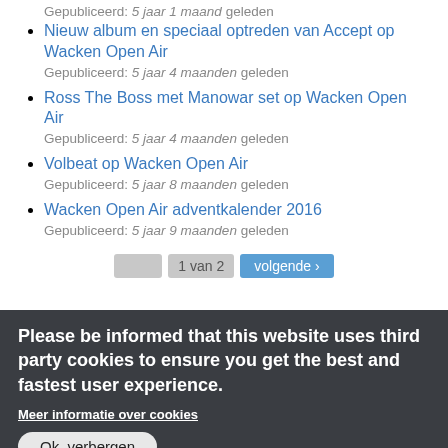Gepubliceerd: 5 jaar 1 maand geleden
Nieuw album en speciaal optreden van Accept op Wacken Open Air
Gepubliceerd: 5 jaar 4 maanden geleden
Ross The Boss met Manowar set op Wacken Open Air
Gepubliceerd: 5 jaar 4 maanden geleden
Volbeat op Wacken Open Air
Gepubliceerd: 5 jaar 8 maanden geleden
Wacken Open Air adventkalender 2016
Gepubliceerd: 5 jaar 9 maanden geleden
1 van 2   volgende ›
Please be informed that this website uses third party cookies to ensure you get the best and fastest user experience.
Meer informatie over cookies
Ok, verbergen